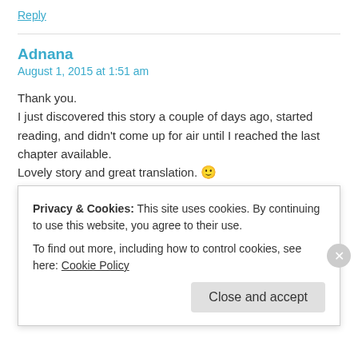Reply
Adnana
August 1, 2015 at 1:51 am
Thank you.
I just discovered this story a couple of days ago, started reading, and didn't come up for air until I reached the last chapter available.
Lovely story and great translation. 🙂

P.S.: I love black belly boss stories, but am a relative newbie to the world of C-novels. Have any other story recs for me?
I-and-Shan-Shan-and-some-other-online-Playing-Sunlight...
Privacy & Cookies: This site uses cookies. By continuing to use this website, you agree to their use.
To find out more, including how to control cookies, see here: Cookie Policy
Close and accept